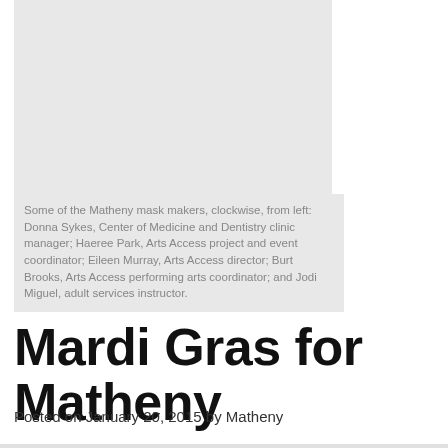[Figure (photo): Gray placeholder image box for a photo of Matheny mask makers]
Some of the Matheny mask makers, clockwise, from left: Donna Sykes, Center of Medicine and Dentistry clinic manager; Haeree Park, Arts Access project and event coordinator; Eileen Murray, Arts Access director; Burt Brooks, Arts Access performing arts coordinator; and Jodi Miguel, adult services instructor.
Mardi Gras for Matheny
Posted on January 20, 2015 by Matheny